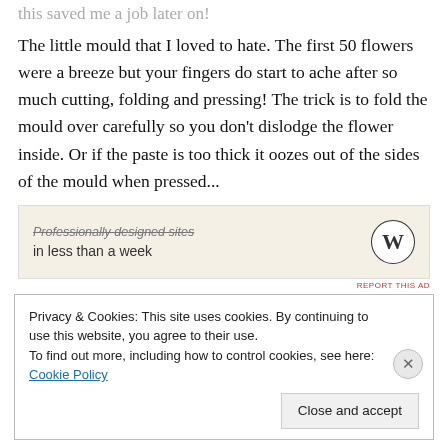this saved me a job later on!
The little mould that I loved to hate. The first 50 flowers were a breeze but your fingers do start to ache after so much cutting, folding and pressing! The trick is to fold the mould over carefully so you don't dislodge the flower inside. Or if the paste is too thick it oozes out of the sides of the mould when pressed...
[Figure (other): WordPress advertisement banner: 'Professionally designed sites in less than a week' with WordPress logo]
Privacy & Cookies: This site uses cookies. By continuing to use this website, you agree to their use.
To find out more, including how to control cookies, see here: Cookie Policy
Close and accept